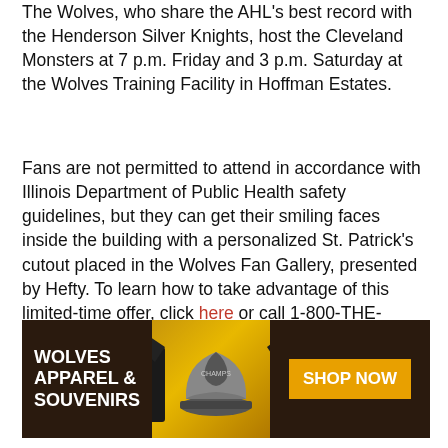The Wolves, who share the AHL's best record with the Henderson Silver Knights, host the Cleveland Monsters at 7 p.m. Friday and 3 p.m. Saturday at the Wolves Training Facility in Hoffman Estates.
Fans are not permitted to attend in accordance with Illinois Department of Public Health safety guidelines, but they can get their smiling faces inside the building with a personalized St. Patrick's cutout placed in the Wolves Fan Gallery, presented by Hefty. To learn how to take advantage of this limited-time offer, click here or call 1-800-THE-WOLVES.
[Figure (illustration): Wolves Apparel & Souvenirs advertisement banner showing merchandise including t-shirts with 'Champs 2022' text and hats, with a 'Shop Now' button on the right side. Dark maroon/brown background with golden yellow accent area.]